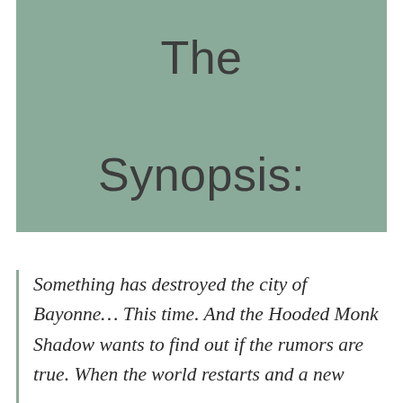The Synopsis:
Something has destroyed the city of Bayonne… This time. And the Hooded Monk Shadow wants to find out if the rumors are true. When the world restarts and a new